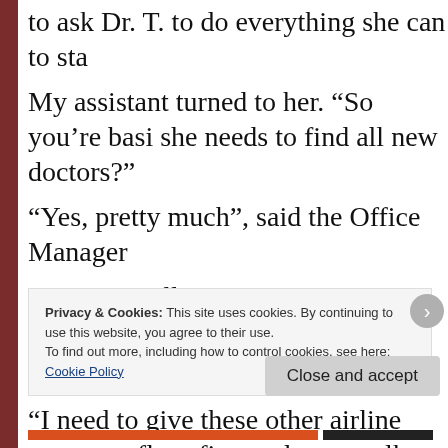to ask Dr. T. to do everything she can to sta
My assistant turned to her. “So you’re basi she needs to find all new doctors?”
“Yes, pretty much”, said the Office Manager
“Let’s go call transportation” my assistant turning away from the woman in disgust. ‘ downstairs.”
“I need to give these other airline papers to floor first and try to talk with her nurse he
Privacy & Cookies: This site uses cookies. By continuing to use this website, you agree to their use. To find out more, including how to control cookies, see here: Cookie Policy
Close and accept